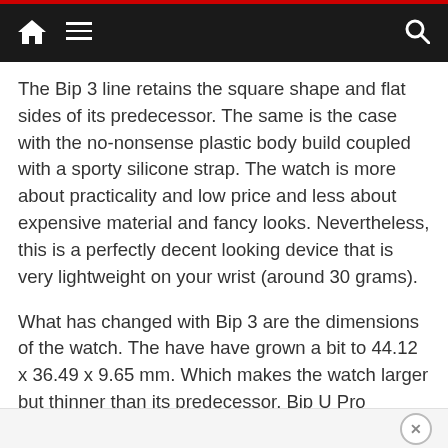Navigation bar with home, menu, and search icons
The Bip 3 line retains the square shape and flat sides of its predecessor. The same is the case with the no-nonsense plastic body build coupled with a sporty silicone strap. The watch is more about practicality and low price and less about expensive material and fancy looks. Nevertheless, this is a perfectly decent looking device that is very lightweight on your wrist (around 30 grams).
What has changed with Bip 3 are the dimensions of the watch. The have have grown a bit to 44.12 x 36.49 x 9.65 mm. Which makes the watch larger but thinner than its predecessor. Bip U Pro dimensions come in at 40.9 x 35.5 x 11.4 mm.